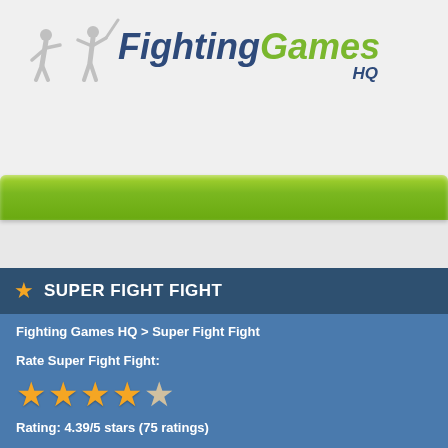[Figure (logo): FightingGames HQ logo with silhouette martial arts figures and italic bold text. 'Fighting' in dark blue, 'Games' in green, 'HQ' in dark blue smaller text.]
[Figure (other): Green navigation bar with gradient, rounded top corners.]
SUPER FIGHT FIGHT
Fighting Games HQ > Super Fight Fight
Rate Super Fight Fight:
[Figure (other): 4 full gold stars and 1 half/empty star rating display]
Rating: 4.39/5 stars (75 ratings)